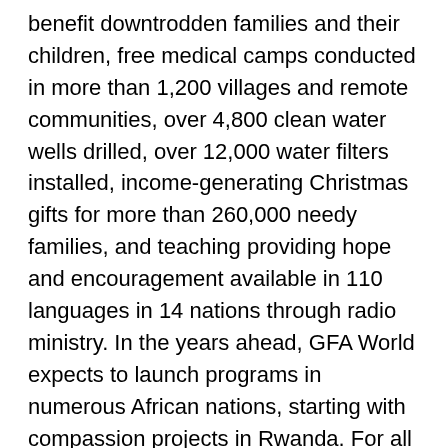benefit downtrodden families and their children, free medical camps conducted in more than 1,200 villages and remote communities, over 4,800 clean water wells drilled, over 12,000 water filters installed, income-generating Christmas gifts for more than 260,000 needy families, and teaching providing hope and encouragement available in 110 languages in 14 nations through radio ministry. In the years ahead, GFA World expects to launch programs in numerous African nations, starting with compassion projects in Rwanda. For all the latest news, visit our Press Room at https://press.gfa.org/news.
PHOTO CUTLINE: THE 'OTHER VACCINE SHOT THE WORLD'S WAITING FOR': Human trials of a new malaria vaccine are underway, with promising initial results, according to a new report (http://www.gfa.ca/special-report/malaria) by humanitarian agency GFA World (www.gfa.ca) that